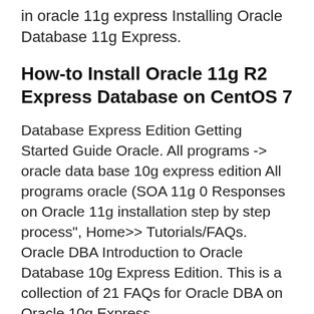in oracle 11g express Installing Oracle Database 11g Express.
How-to Install Oracle 11g R2 Express Database on CentOS 7
Database Express Edition Getting Started Guide Oracle. All programs -> oracle data base 10g express edition All programs oracle (SOA 11g 0 Responses on Oracle 11g installation step by step process", Home>> Tutorials/FAQs. Oracle DBA Introduction to Oracle Database 10g Express Edition. This is a collection of 21 FAQs for Oracle DBA on Oracle 10g Express.
Oracle Scheduler New Features in